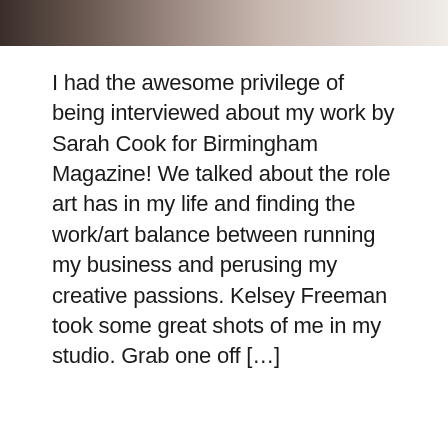[Figure (photo): Partial photo at the top of the page showing a blurred/cropped image, dark at left and light/white tones at right, appears to be a studio or indoor setting]
I had the awesome privilege of being interviewed about my work by Sarah Cook for Birmingham Magazine! We talked about the role art has in my life and finding the work/art balance between running my business and perusing my creative passions. Kelsey Freeman took some great shots of me in my studio. Grab one off […]